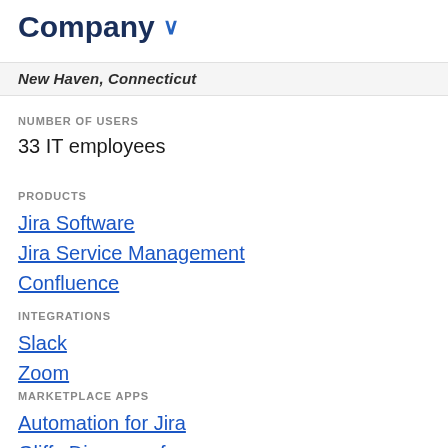Company
New Haven, Connecticut
NUMBER OF USERS
33 IT employees
PRODUCTS
Jira Software
Jira Service Management
Confluence
INTEGRATIONS
Slack
Zoom
MARKETPLACE APPS
Automation for Jira
Gliffy Diagrams for Confluence